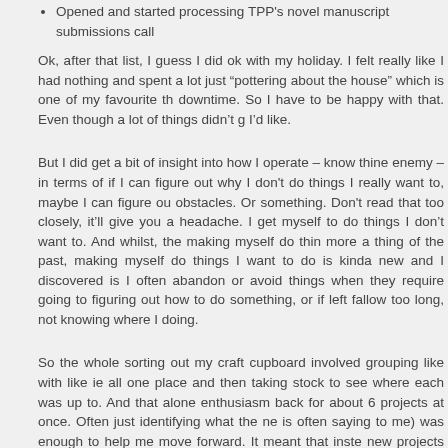Opened and started processing TPP's novel manuscript submissions call
Ok, after that list, I guess I did ok with my holiday. I felt really like I had nothing and spent a lot just “pottering about the house” which is one of my favourite th downtime. So I have to be happy with that. Even though a lot of things didn’t g I’d like.
But I did get a bit of insight into how I operate – know thine enemy – in terms of if I can figure out why I don't do things I really want to, maybe I can figure ou obstacles. Or something. Don't read that too closely, it’ll give you a headache. I get myself to do things I don’t want to. And whilst, the making myself do thin more a thing of the past, making myself do things I want to do is kinda new and I discovered is I often abandon or avoid things when they require going to figuring out how to do something, or if left fallow too long, not knowing where I doing.
So the whole sorting out my craft cupboard involved grouping like with like ie all one place and then taking stock to see where each was up to. And that alone enthusiasm back for about 6 projects at once. Often just identifying what the ne is often saying to me) was enough to help me move forward. It meant that inste new projects which had been my plan, I ended up happily working on older ones it to other things, like sorting out scary packing boxes of doom, and email answers, and TPP projects I’d stalled on, and found great success. It seems so the reminder – when looking at something I’m avoiding, think up what just the n should be my thing for this year.